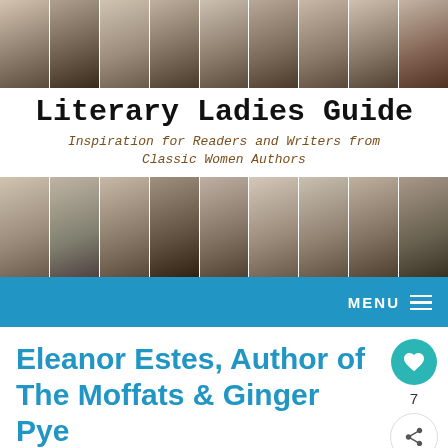[Figure (photo): Collage strip of vintage black-and-white portrait photos of classic women authors (top row, 9 photos)]
Literary Ladies Guide
Inspiration for Readers and Writers from Classic Women Authors
[Figure (photo): Collage strip of vintage black-and-white portrait photos of classic women authors (bottom row, 9 photos)]
MENU
Eleanor Estes, Author of The Moffats & Ginger Pye
By Taylor Jasmine | On November 8, 2015 | Updated August 17, 2022 | Comments (0)